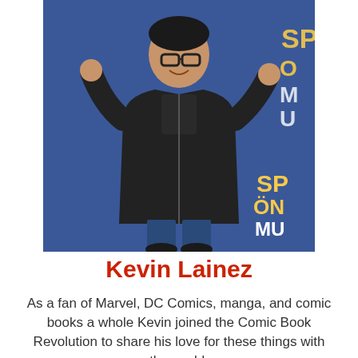[Figure (photo): Photo of Kevin Lainez posing excitedly in front of a blue banner background with 'SPO' and 'MU' text visible, wearing a black hoodie and graphic t-shirt]
Kevin Lainez
As a fan of Marvel, DC Comics, manga, and comic books a whole Kevin joined the Comic Book Revolution to share his love for these things with the world.
See author's posts
[Figure (screenshot): CVS Photo advertisement banner: '50+ Same Day Photo Products' with CVS pharmacy logo and blue navigation arrow]